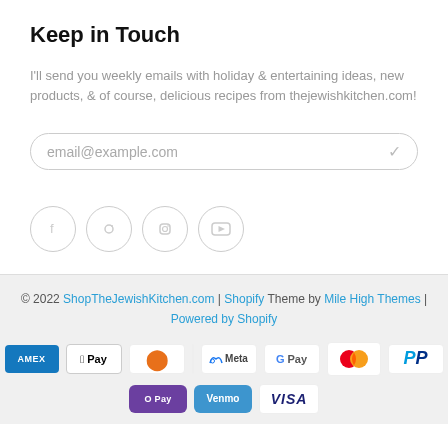Keep in Touch
I'll send you weekly emails with holiday & entertaining ideas, new products, & of course, delicious recipes from thejewishkitchen.com!
[Figure (other): Email input field with placeholder 'email@example.com' and a checkmark icon, styled with rounded border]
[Figure (other): Four social media icons in circles: Facebook, Pinterest, Instagram, YouTube]
© 2022 ShopTheJewishKitchen.com | Shopify Theme by Mile High Themes | Powered by Shopify
[Figure (other): Payment method icons: Amex, Apple Pay, Diners, Discover, Meta, Google Pay, Mastercard, PayPal, O Pay, Venmo, Visa]